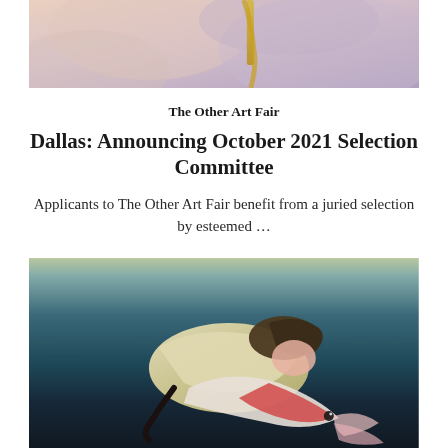[Figure (photo): Top portion of a painting showing soft fabric-like forms in muted pink, lavender and beige tones with a yellow ribbon or string element]
The Other Art Fair
Dallas: Announcing October 2021 Selection Committee
Applicants to The Other Art Fair benefit from a juried selection by esteemed …
[Figure (photo): A surrealist painting showing a figure with dark hair bent over, merging with or holding a large fish, set against a dark teal/blue aquatic background]